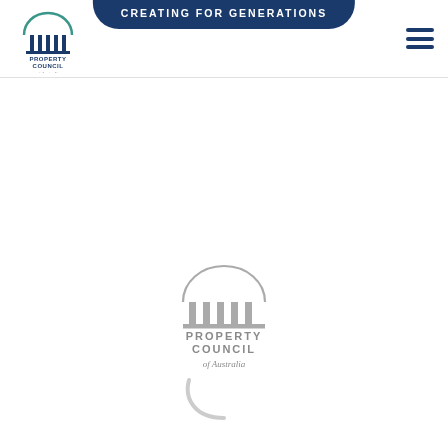[Figure (logo): Property Council of Australia logo top-left in header, with arch/columns icon in teal/green and dark blue text]
CREATING FOR GENERATIONS
[Figure (other): Hamburger menu icon (three horizontal dark blue bars) in top-right of header]
[Figure (logo): Property Council of Australia logo centered on page in grey tones, with arch/columns icon and text below]
[Figure (other): Loading spinner arc (grey/light partial circle) below center logo]